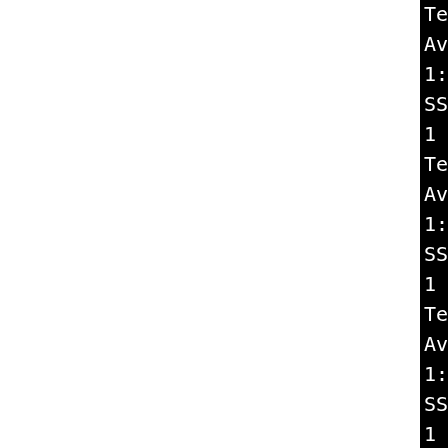[Figure (screenshot): Terminal output on black background showing SSL/TLS cipher testing output. Left portion of page is white (document margin). Right portion shows black terminal with white monospace text listing repeated patterns of: Testing <cipher>, Available compression meth[ods], 1: zlib compression, SSLv3 cipher TLSv1/SSLv3, 1 handshakes of 256 bytes. Ciphers tested: RC4-SHA, RC4-MD5, DES-CBC3-SHA, NULL-SHA, NULL-MD5.]